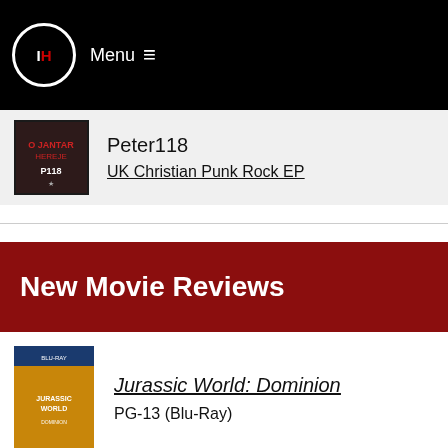IH Menu ≡
Peter118
UK Christian Punk Rock EP
New Movie Reviews
[Figure (photo): Jurassic World Dominion Blu-Ray cover]
Jurassic World: Dominion
PG-13 (Blu-Ray)
[Figure (photo): Lightyear Digital 4K cover]
Lightyear
PG (Digital 4K)